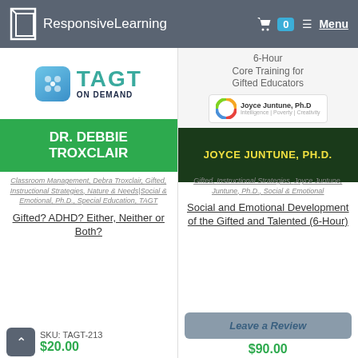ResponsiveLearning — Menu (0 items in cart)
[Figure (illustration): TAGT On Demand product image with Dr. Debbie Troxclair on green banner]
Classroom Management, Debra Troxclair, Gifted, Instructional Strategies, Nature & Needs|Social & Emotional, Ph.D., Special Education, TAGT
Gifted? ADHD? Either, Neither or Both?
SKU: TAGT-213
$20.00
[Figure (illustration): 6-Hour Core Training for Gifted Educators product image with Joyce Juntune Ph.D on dark green banner]
Gifted, Instructional Strategies, Joyce Juntune, Juntune, Ph.D., Social & Emotional
Social and Emotional Development of the Gifted and Talented (6-Hour)
Leave a Review
$90.00